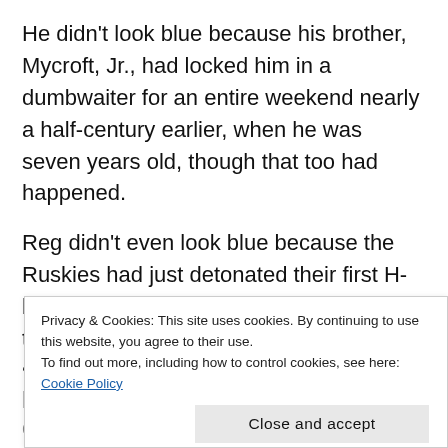He didn't look blue because his brother, Mycroft, Jr., had locked him in a dumbwaiter for an entire weekend nearly a half-century earlier, when he was seven years old, though that too had happened.
Reg didn't even look blue because the Ruskies had just detonated their first H-bomb; something that had sent much of the Western World (from foggy London to sunny Paris to Reg's home base of rainy
Privacy & Cookies: This site uses cookies. By continuing to use this website, you agree to their use.
To find out more, including how to control cookies, see here: Cookie Policy
Close and accept
precise) because of a rare genetic condition known